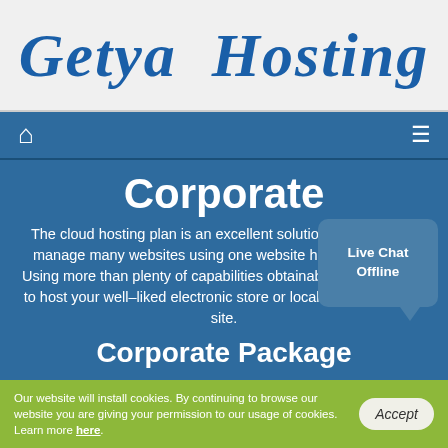Getya Hosting
Navigation bar with home and menu icons
Corporate
The cloud hosting plan is an excellent solution if you have to manage many websites using one website hosting account. Using more than plenty of capabilities obtainable, you'll be able to host your well–liked electronic store or local community web site.
Corporate Package
[Figure (other): Live Chat Offline speech bubble overlay in bottom-right area]
Our website will install cookies. By continuing to browse our website you are giving your permission to our usage of cookies. Learn more here.